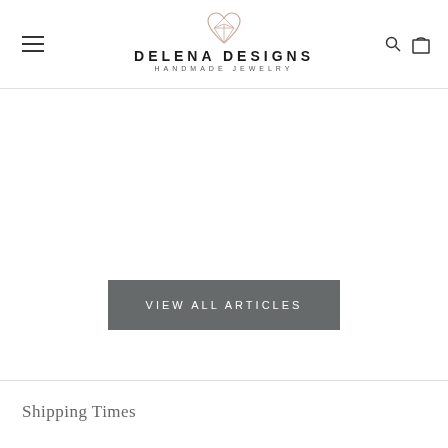DELENA DESIGNS HANDMADE JEWELRY
[Figure (other): VIEW ALL ARTICLES button — dark grey rectangle with white uppercase letter-spaced text]
Shipping Times